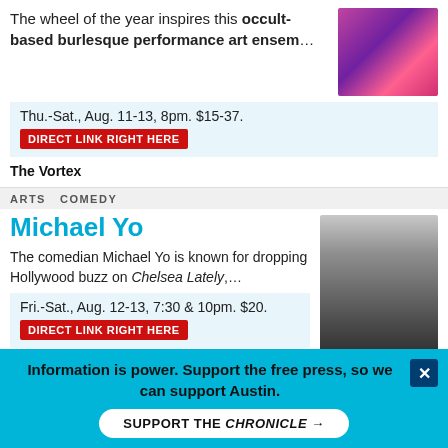The wheel of the year inspires this occult-based burlesque performance art ensem…
[Figure (photo): Performer in red costume on stage with purple/pink lighting]
Thu.-Sat., Aug. 11-13, 8pm. $15-37.
DIRECT LINK RIGHT HERE
The Vortex
ARTS   COMEDY
Michael Yo
The comedian Michael Yo is known for dropping Hollywood buzz on Chelsea Lately,…
[Figure (photo): Headshot of Michael Yo smiling, wearing dark jacket]
Fri.-Sat., Aug. 12-13, 7:30 & 10pm. $20.
DIRECT LINK RIGHT HERE
Vulcan Gas Company
ARTS   VISUAL ARTS
Sage Studio: Body Work
Here's an exploration of all things anatomical
[Figure (photo): Art pieces with blue and yellow tones]
Information is power. Support the free press, so we can support Austin.
SUPPORT THE CHRONICLE →